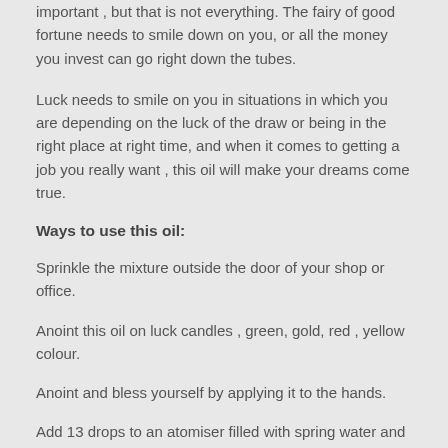important , but that is not everything. The fairy of good fortune needs to smile down on you, or all the money you invest can go right down the tubes.
Luck needs to smile on you in situations in which you are depending on the luck of the draw or being in the right place at right time, and when it comes to getting a job you really want , this oil will make your dreams come true.
Ways to use this oil:
Sprinkle the mixture outside the door of your shop or office.
Anoint this oil on luck candles , green, gold, red , yellow colour.
Anoint and bless yourself by applying it to the hands.
Add 13 drops to an atomiser filled with spring water and spray to bless your environment.